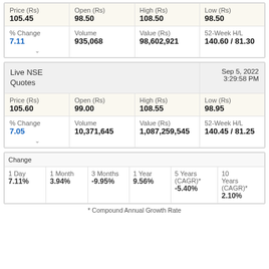| Price (Rs) | Open (Rs) | High (Rs) | Low (Rs) |
| --- | --- | --- | --- |
| 105.45 | 98.50 | 108.50 | 98.50 |
| % Change
7.11 | Volume
935,068 | Value (Rs)
98,602,921 | 52-Week H/L
140.60 / 81.30 |
| Live NSE Quotes |  |  | Sep 5, 2022 3:29:58 PM |
| --- | --- | --- | --- |
| Price (Rs)
105.60 | Open (Rs)
99.00 | High (Rs)
108.55 | Low (Rs)
98.95 |
| % Change
7.05 | Volume
10,371,645 | Value (Rs)
1,087,259,545 | 52-Week H/L
140.45 / 81.25 |
| Change |
| --- |
| 1 Day
7.11% | 1 Month
3.94% | 3 Months
-9.95% | 1 Year
9.56% | 5 Years (CAGR)*
-5.40% | 10 Years (CAGR)*
2.10% |
* Compound Annual Growth Rate